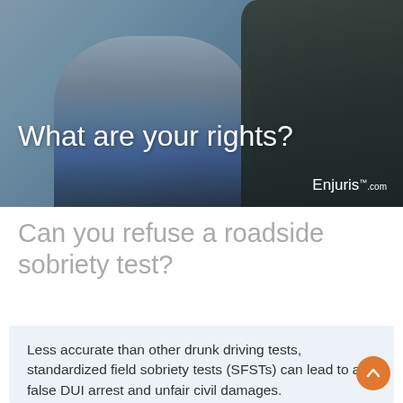[Figure (photo): A person in a blue shirt being stopped or searched by a police officer in a dark jacket, set against a light blue sky. Text overlay reads 'What are your rights?' with Enjuris.com logo in the bottom right.]
Can you refuse a roadside sobriety test?
Less accurate than other drunk driving tests, standardized field sobriety tests (SFSTs) can lead to a false DUI arrest and unfair civil damages.